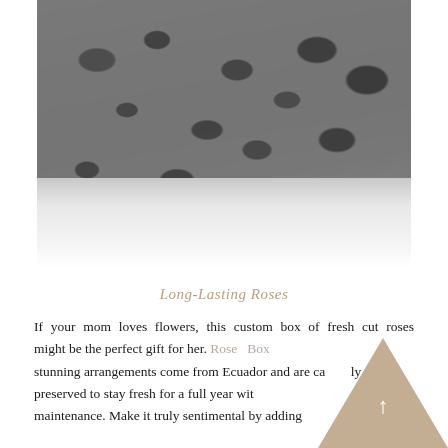[Figure (photo): A gray leopard-print fluffy blanket draped over a white bed, with a person partially visible in the background wearing a gray top.]
Long-Lasting Roses
If your mom loves flowers, this custom box of fresh cut roses might be the perfect gift for her. Rose Box stunning arrangements come from Ecuador and are carefully preserved to stay fresh for a full year with maintenance. Make it truly sentimental by adding...